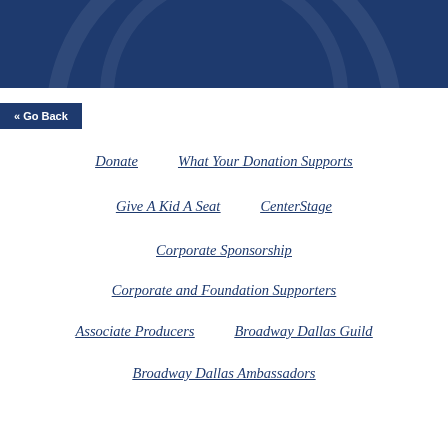[Figure (illustration): Dark navy blue banner header with circular arc decorations]
« Go Back
Donate
What Your Donation Supports
Give A Kid A Seat
CenterStage
Corporate Sponsorship
Corporate and Foundation Supporters
Associate Producers
Broadway Dallas Guild
Broadway Dallas Ambassadors